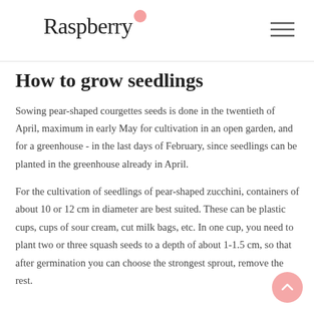Raspberry
How to grow seedlings
Sowing pear-shaped courgettes seeds is done in the twentieth of April, maximum in early May for cultivation in an open garden, and for a greenhouse - in the last days of February, since seedlings can be planted in the greenhouse already in April.
For the cultivation of seedlings of pear-shaped zucchini, containers of about 10 or 12 cm in diameter are best suited. These can be plastic cups, cups of sour cream, cut milk bags, etc. In one cup, you need to plant two or three squash seeds to a depth of about 1-1.5 cm, so that after germination you can choose the strongest sprout, remove the rest.